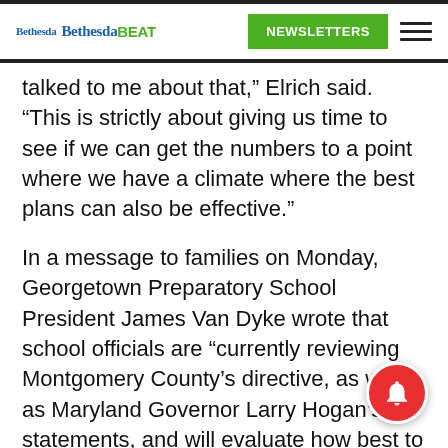Bethesda Bethesda BEAT | NEWSLETTERS
talked to me about that,” Elrich said. “This is strictly about giving us time to see if we can get the numbers to a point where we have a climate where the best plans can also be effective.”
In a message to families on Monday, Georgetown Preparatory School President James Van Dyke wrote that school officials are “currently reviewing Montgomery County’s directive, as well as Maryland Governor Larry Hogan’s statements, and will evaluate how best to proceed for